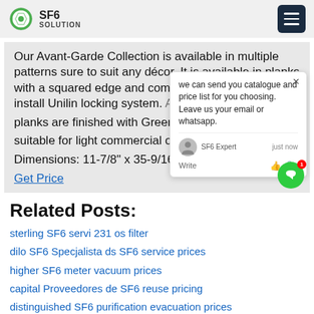SF6 SOLUTION
Our Avant-Garde Collection is available in multiple patterns sure to suit any décor. It is available in planks with a squared edge and comes with the easy to install Unilin locking system. Avant-Garde planks are finished with Greenshield ... suitable for light commercial or residential ... Dimensions: 11-7/8" x 35-9/16" x 7/...
Get Price
Related Posts:
sterling SF6 servi 231 os filter
dilo SF6 Specjalista ds SF6 service prices
higher SF6 meter vacuum prices
capital Proveedores de SF6 reuse pricing
distinguished SF6 purification evacuation prices